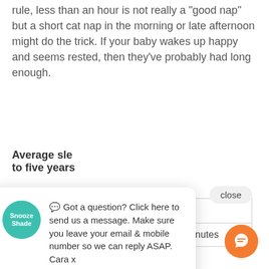rule, less than an hour is not really a 'good nap' but a short cat nap in the morning or late afternoon might do the trick. If your baby wakes up happy and seems rested, then they've probably had long enough.
Average sleep needs from birth to five years
| Age |  |  |
| --- | --- | --- |
| 1 week | 8 hours | 8 hours 30 minutes |
[Figure (screenshot): Chat popup from SnoozShade showing a teal logo circle with 'Snooze Shade' text, a close button, and a message: '💬 Got a question? Click here to send us a message. Make sure you leave your email & mobile number so we can reply ASAP. Cara x'. An orange circular chat icon button is visible at bottom right.]